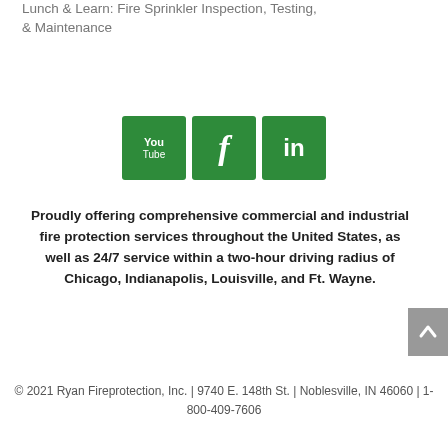Lunch & Learn: Fire Sprinkler Inspection, Testing, & Maintenance
[Figure (logo): Three green social media icons: YouTube, Facebook, LinkedIn]
Proudly offering comprehensive commercial and industrial fire protection services throughout the United States, as well as 24/7 service within a two-hour driving radius of Chicago, Indianapolis, Louisville, and Ft. Wayne.
© 2021 Ryan Fireprotection, Inc. | 9740 E. 148th St. | Noblesville, IN 46060 | 1-800-409-7606